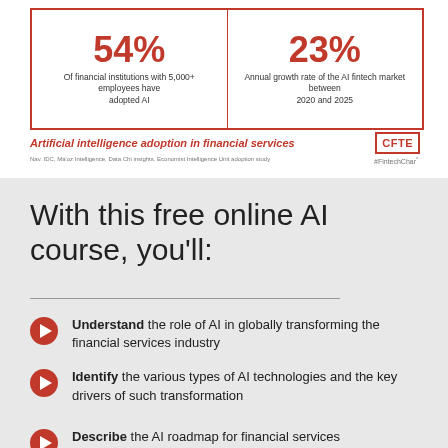[Figure (infographic): Two-stat infographic box with red border: 54% of financial institutions with 5,000+ employees have adopted AI; 23% Annual growth rate of the AI fintech market between 2020 and 2025. Title: Artificial intelligence adoption in financial services. CFTE logo. #FintechChar hashtag.]
With this free online AI course, you'll:
Understand the role of AI in globally transforming the financial services industry
Identify the various types of AI technologies and the key drivers of such transformation
Describe the AI roadmap for financial services